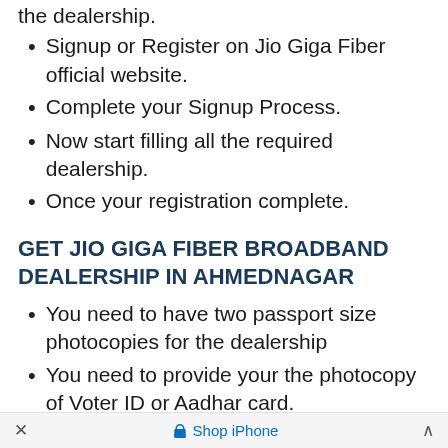Signup or Register on Jio Giga Fiber official website.
Complete your Signup Process.
Now start filling all the required dealership.
Once your registration complete.
GET JIO GIGA FIBER BROADBAND DEALERSHIP IN AHMEDNAGAR
You need to have two passport size photocopies for the dealership
You need to provide your the photocopy of Voter ID or Aadhar card.
× Shop iPhone ^